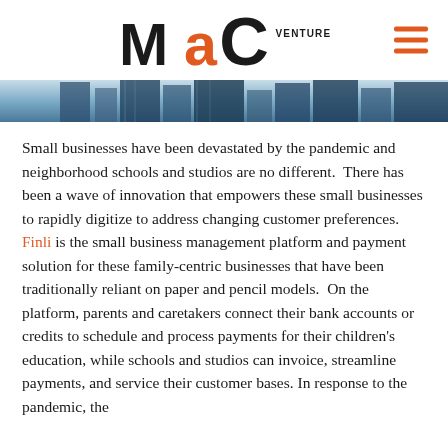MaC VENTURE CAPITAL
[Figure (photo): Partial view of city buildings with glass facade, cropped hero image at top of article]
Small businesses have been devastated by the pandemic and neighborhood schools and studios are no different.  There has been a wave of innovation that empowers these small businesses to rapidly digitize to address changing customer preferences. Finli is the small business management platform and payment solution for these family-centric businesses that have been traditionally reliant on paper and pencil models.  On the platform, parents and caretakers connect their bank accounts or credits to schedule and process payments for their children's education, while schools and studios can invoice, streamline payments, and service their customer bases. In response to the pandemic, the